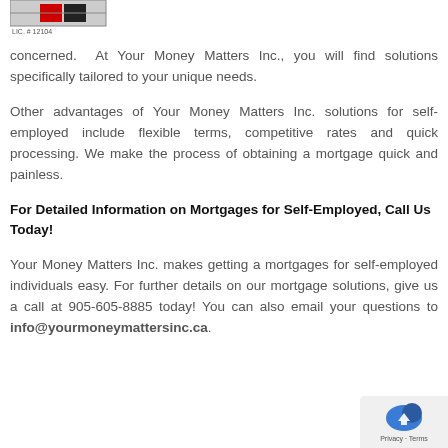[Figure (logo): Your Money Matters Inc. logo with red and black elements, LIC. #12104 below]
concerned. At Your Money Matters Inc., you will find solutions specifically tailored to your unique needs.
Other advantages of Your Money Matters Inc. solutions for self-employed include flexible terms, competitive rates and quick processing. We make the process of obtaining a mortgage quick and painless.
For Detailed Information on Mortgages for Self-Employed, Call Us Today!
Your Money Matters Inc. makes getting a mortgages for self-employed individuals easy. For further details on our mortgage solutions, give us a call at 905-605-8885 today! You can also email your questions to info@yourmoneymattersinc.ca.